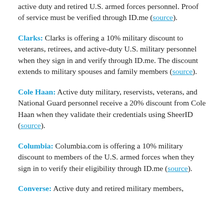active duty and retired U.S. armed forces personnel. Proof of service must be verified through ID.me (source).
Clarks: Clarks is offering a 10% military discount to veterans, retirees, and active-duty U.S. military personnel when they sign in and verify through ID.me. The discount extends to military spouses and family members (source).
Cole Haan: Active duty military, reservists, veterans, and National Guard personnel receive a 20% discount from Cole Haan when they validate their credentials using SheerID (source).
Columbia: Columbia.com is offering a 10% military discount to members of the U.S. armed forces when they sign in to verify their eligibility through ID.me (source).
Converse: Active duty and retired military members,